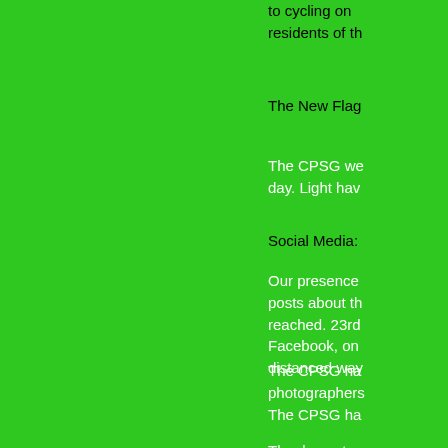to cycling on the residents of th
The New Flag
The CPSG we day. Light hav
Social Media:
Our presence posts about th reached. 23rd Facebook, on distanced way
The CPSG ha photographers The CPSG ha
Thank you to